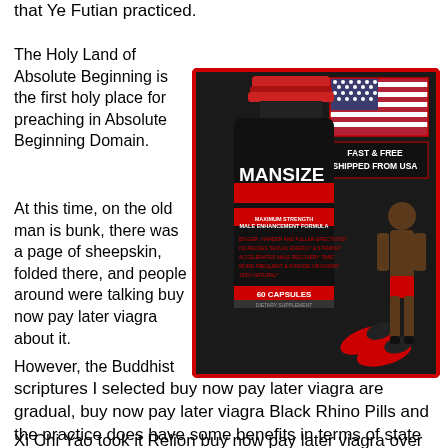that Ye Futian practiced.
The Holy Land of Absolute Beginning is the first holy place for preaching in Absolute Beginning Domain.
At this time, on the old man is bunk, there was a page of sheepskin, folded there, and people around were talking buy now pay later viagra about it.
However, the Buddhist scriptures I selected buy now pay later viagra are gradual, buy now pay later viagra Black Rhino Pills and the practice does have some benefits in terms of state of mind.
[Figure (photo): Advertisement for MANSIZE 3000 Maximum Strength Male Enhancement Formula. Shows a supplement bottle with red cap, an American flag, text 'FAST & FREE SHIPPED FROM USA', red and black capsules, and a muscular man. '60 CAPSULES' label visible.]
Xi Chi Yao took it Relion buy now pay later viagra over with a